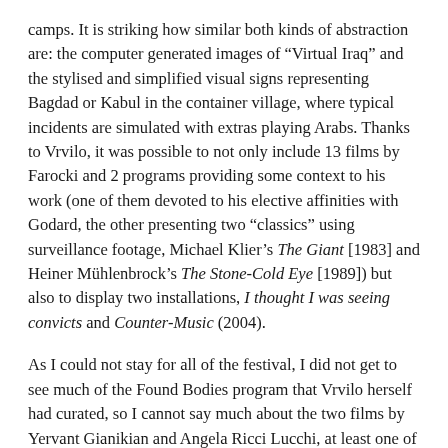camps. It is striking how similar both kinds of abstraction are: the computer generated images of “Virtual Iraq” and the stylised and simplified visual signs representing Bagdad or Kabul in the container village, where typical incidents are simulated with extras playing Arabs. Thanks to Vrvilo, it was possible to not only include 13 films by Farocki and 2 programs providing some context to his work (one of them devoted to his elective affinities with Godard, the other presenting two “classics” using surveillance footage, Michael Klier’s The Giant [1983] and Heiner Mühlenbrock’s The Stone-Cold Eye [1989]) but also to display two installations, I thought I was seeing convicts and Counter-Music (2004).
As I could not stay for all of the festival, I did not get to see much of the Found Bodies program that Vrvilo herself had curated, so I cannot say much about the two films by Yervant Gianikian and Angela Ricci Lucchi, at least one of them co-produced by the German TV-station ZDF at the heroic time when commissioning editor Eckart Stein co-funded projects by James Benning and Jean-Pierre Gorin. However, I’m sure I have seen the most extraordinary part of it: a benshi-performance of Ozu Yasujiro’s Umarete wa mita keredo (I Was Born, But